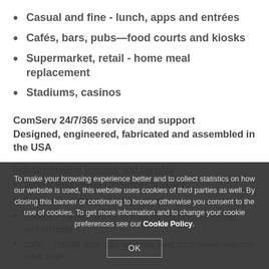Casual and fine - lunch, apps and entrées
Cafés, bars, pubs—food courts and kiosks
Supermarket, retail - home meal replacement
Stadiums, casinos
ComServ 24/7/365 service and support
Designed, engineered, fabricated and assembled in the USA
Industry-leading features and benefits
2000W impingement enhances browning
Easily adjustable 0-100% fan speed
3000W infra-red radiant enhances toasting, browning, and crisping
2000 - 2200W dual side antenna feed microwave reduces cook time
To make your browsing experience better and to collect statistics on how our website is used, this website uses cookies of third parties as well. By closing this banner or continuing to browse otherwise you consent to the use of cookies. To get more information and to change your cookie preferences see our Cookie Policy.